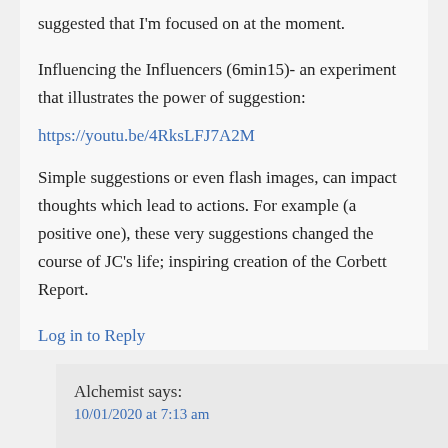suggested that I'm focused on at the moment.
Influencing the Influencers (6min15)- an experiment that illustrates the power of suggestion:
https://youtu.be/4RksLFJ7A2M
Simple suggestions or even flash images, can impact thoughts which lead to actions. For example (a positive one), these very suggestions changed the course of JC's life; inspiring creation of the Corbett Report.
Log in to Reply
Alchemist says:
10/01/2020 at 7:13 am
I commented before watching the whole episode and now I see Corbett already gave that example 🏠 ah well, there you have it again:)
*I'll add that I doubt algorithms alone decide on